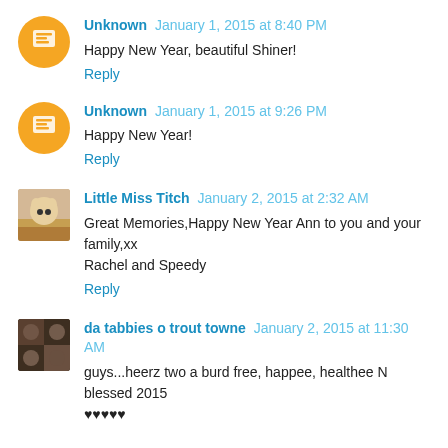Unknown January 1, 2015 at 8:40 PM
Happy New Year, beautiful Shiner!
Reply
Unknown January 1, 2015 at 9:26 PM
Happy New Year!
Reply
Little Miss Titch January 2, 2015 at 2:32 AM
Great Memories,Happy New Year Ann to you and your family,xx Rachel and Speedy
Reply
da tabbies o trout towne January 2, 2015 at 11:30 AM
guys...heerz two a burd free, happee, healthee N blessed 2015 ♥♥♥♥♥